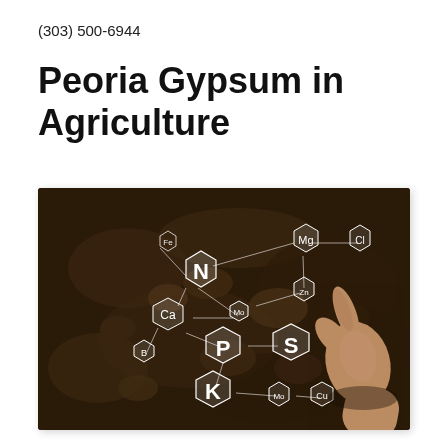(303) 500-6944
Peoria Gypsum in Agriculture
[Figure (photo): A hand touching dark soil with overlaid hexagonal chemical element symbols (N, Ca, P, S, K, Mg, Cl, Zn, Cu, Mo, B, Fe) connected by white lines, representing nutrient elements in agriculture.]